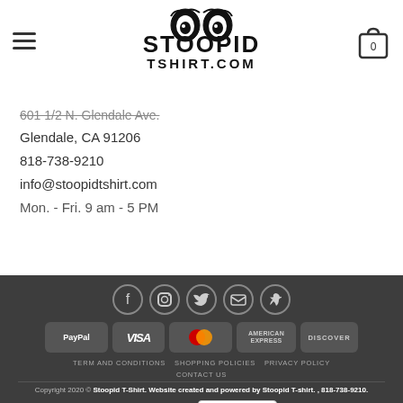[Figure (logo): Stoopid Tshirt.com logo with cartoon eyes]
601 1/2 N. Glendale Ave.
Glendale, CA 91206
818-738-9210
info@stoopidtshirt.com
Mon. - Fri. 9 am - 5 PM
[Figure (infographic): Social media icons: Facebook, Instagram, Twitter, Email, Pinterest in dark circles]
[Figure (infographic): Payment method badges: PayPal, Visa, MasterCard, American Express, Discover]
TERM AND CONDITIONS   SHOPPING POLICIES   PRIVACY POLICY   CONTACT US
Copyright 2020 © Stoopid T-Shirt. Website created and powered by Stoopid T-shirt. , 818-738-9210.
[Figure (logo): GoDaddy Verified & Secured badge]
[Figure (logo): TrustedSite badge]